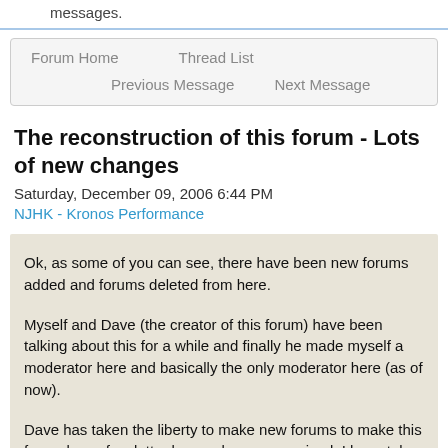messages.
Forum Home   Thread List   Previous Message   Next Message
The reconstruction of this forum - Lots of new changes
Saturday, December 09, 2006 6:44 PM
NJHK - Kronos Performance
Ok, as some of you can see, there have been new forums added and forums deleted from here.
Myself and Dave (the creator of this forum) have been talking about this for a while and finally he made myself a moderator here and basically the only moderator here (as of now).
Dave has taken the liberty to make new forums to make this forum less of a clutter box and more organized. I have taken the liberty to move most of the threads into the proper fo...